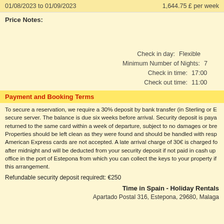| Date Range | Price |
| --- | --- |
| 01/08/2023 to 01/09/2023 | 1,644.75 £ per week |
Price Notes:
Check in day: Flexible
Minimum Number of Nights: 7
Check in time: 17:00
Check out time: 11:00
Payment and Booking Terms
To secure a reservation, we require a 30% deposit by bank transfer (in Sterling or E... secure server. The balance is due six weeks before arrival. Security deposit is paya... returned to the same card within a week of departure, subject to no damages or bre... Properties should be left clean as they were found and should be handled with resp... American Express cards are not accepted. A late arrival charge of 30€ is charged fo... after midnight and will be deducted from your security deposit if not paid in cash up... office in the port of Estepona from which you can collect the keys to your property if... this arrangement.
Refundable security deposit requiredt: €250
Time in Spain - Holiday Rentals
Apartado Postal 316, Estepona, 29680, Malaga